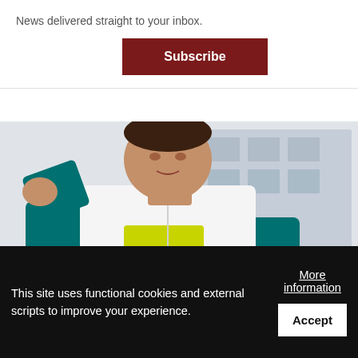News delivered straight to your inbox.
Subscribe
[Figure (photo): Photo of a male athlete in a white vest over a teal/green jacket, raising one arm, with a building in the background]
Run Saipan ecstatic after first-ever 10K
[Figure (photo): Photo of a running event venue with chain-link fencing and green netting, with spectators visible]
This site uses functional cookies and external scripts to improve your experience.
More information
Accept